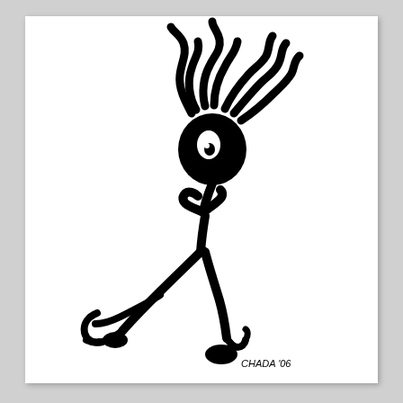[Figure (illustration): Black and white illustration of a cartoon stick figure character with wild flowing hair/tendrils on top of a round skull-like head. The figure is in a crouching or walking pose with thin limbs, one leg kicked out. Signed 'CHADA '06' in the lower right area of the image.]